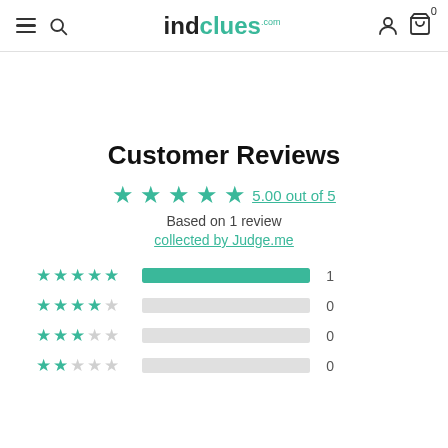indclues.com header with menu, search, user and cart icons
Customer Reviews
5.00 out of 5
Based on 1 review
collected by Judge.me
| Stars | Bar | Count |
| --- | --- | --- |
| 5 stars | filled | 1 |
| 4 stars | empty | 0 |
| 3 stars | empty | 0 |
| 2 stars | empty | 0 |